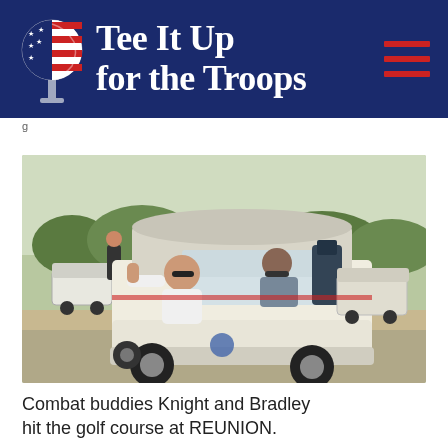[Figure (logo): Tee It Up for the Troops logo with patriotic golf ball icon on a navy blue banner header, with hamburger menu icon on the right]
[Figure (photo): Two men riding in a white golf cart on a golf course. The driver is wearing sunglasses and a white polo shirt, giving a thumbs up. Another golf cart and players are visible in the background. Sunny day at a golf course.]
Combat buddies Knight and Bradley hit the golf course at REUNION.